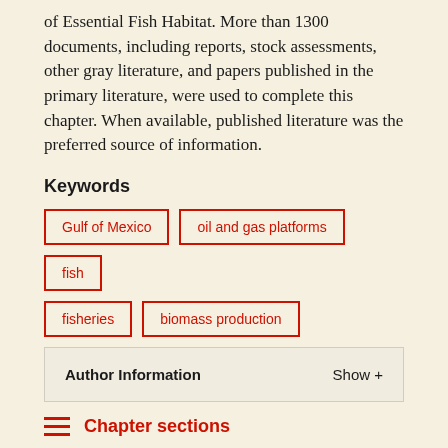of Essential Fish Habitat. More than 1300 documents, including reports, stock assessments, other gray literature, and papers published in the primary literature, were used to complete this chapter. When available, published literature was the preferred source of information.
Keywords
Gulf of Mexico
oil and gas platforms
fish
fisheries
biomass production
Author Information   Show +
Chapter sections